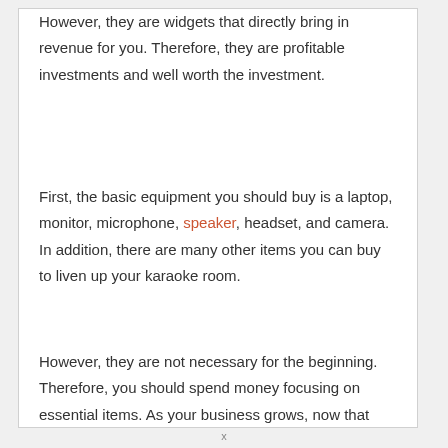However, they are widgets that directly bring in revenue for you. Therefore, they are profitable investments and well worth the investment.
First, the basic equipment you should buy is a laptop, monitor, microphone, speaker, headset, and camera. In addition, there are many other items you can buy to liven up your karaoke room.
However, they are not necessary for the beginning. Therefore, you should spend money focusing on essential items. As your business grows, now that you have more money, you can add more.
x